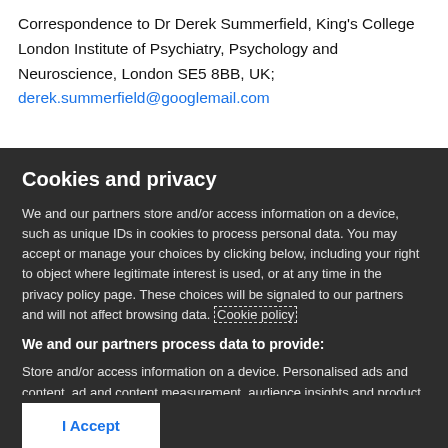Correspondence to Dr Derek Summerfield, King's College London Institute of Psychiatry, Psychology and Neuroscience, London SE5 8BB, UK;
derek.summerfield@googlemail.com
Cookies and privacy
We and our partners store and/or access information on a device, such as unique IDs in cookies to process personal data. You may accept or manage your choices by clicking below, including your right to object where legitimate interest is used, or at any time in the privacy policy page. These choices will be signaled to our partners and will not affect browsing data. Cookie policy
We and our partners process data to provide:
Store and/or access information on a device. Personalised ads and content, ad and content measurement, audience insights and product development. Use precise geolocation data. Actively scan device characteristics for identification
List of Partners (vendors)
I Accept